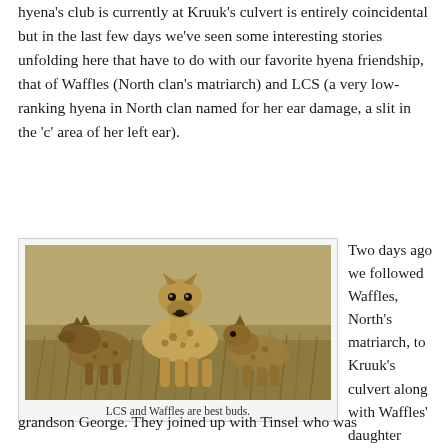hyena's club is currently at Kruuk's culvert is entirely coincidental but in the last few days we've seen some interesting stories unfolding here that have to do with our favorite hyena friendship, that of Waffles (North clan's matriarch) and LCS (a very low-ranking hyena in North clan named for her ear damage, a slit in the 'c' area of her left ear).
[Figure (photo): Photograph of spotted hyenas standing in dry grassland/savanna. Two hyenas are visible in center foreground with another partially visible on left.]
LCS and Waffles are best buds.
Two days ago we followed Waffles, North's matriarch, to Kruuk's culvert along with Waffles' daughter LogC, son Torani, and grandson George. They joined up with Tinsel who was
grandson George. They joined up with Tinsel who was